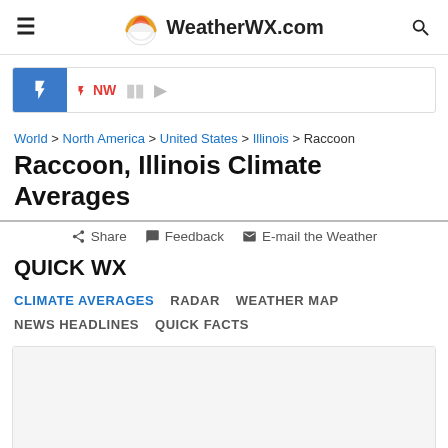WeatherWX.com
⚡ NW ▐ ▶
World > North America > United States > Illinois > Raccoon
Raccoon, Illinois Climate Averages
Share  Feedback  E-mail the Weather
QUICK WX
CLIMATE AVERAGES  RADAR  WEATHER MAP  NEWS HEADLINES  QUICK FACTS